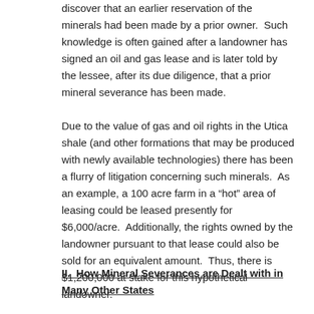discover that an earlier reservation of the minerals had been made by a prior owner. Such knowledge is often gained after a landowner has signed an oil and gas lease and is later told by the lessee, after its due diligence, that a prior mineral severance has been made.
Due to the value of gas and oil rights in the Utica shale (and other formations that may be produced with newly available technologies) there has been a flurry of litigation concerning such minerals. As an example, a 100 acre farm in a “hot” area of leasing could be leased presently for $6,000/acre. Additionally, the rights owned by the landowner pursuant to that lease could also be sold for an equivalent amount. Thus, there is $1,200,000 at stake for this hypothetical landowner.
II. How Mineral Severances are Dealt with in Many Other States